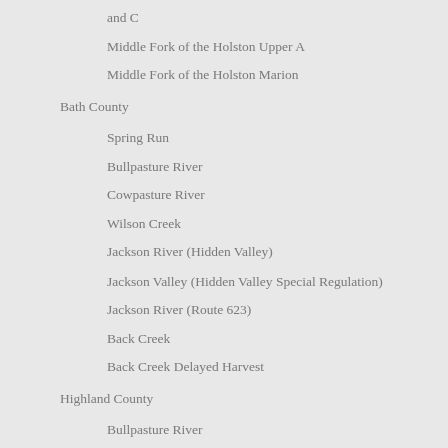and C
Middle Fork of the Holston Upper A
Middle Fork of the Holston Marion
Bath County
Spring Run
Bullpasture River
Cowpasture River
Wilson Creek
Jackson River (Hidden Valley)
Jackson Valley (Hidden Valley Special Regulation)
Jackson River (Route 623)
Back Creek
Back Creek Delayed Harvest
Highland County
Bullpasture River
Russell County